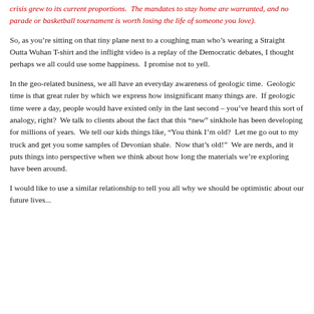crisis grew to its current proportions.  The mandates to stay home are warranted, and no parade or basketball tournament is worth losing the life of someone you love).
So, as you're sitting on that tiny plane next to a coughing man who's wearing a Straight Outta Wuhan T-shirt and the inflight video is a replay of the Democratic debates, I thought perhaps we all could use some happiness.  I promise not to yell.
In the geo-related business, we all have an everyday awareness of geologic time.  Geologic time is that great ruler by which we express how insignificant many things are.  If geologic time were a day, people would have existed only in the last second – you've heard this sort of analogy, right?  We talk to clients about the fact that this “new” sinkhole has been developing for millions of years.  We tell our kids things like, “You think I’m old?  Let me go out to my truck and get you some samples of Devonian shale.  Now that’s old!”  We are nerds, and it puts things into perspective when we think about how long the materials we’re exploring have been around.
I would like to use a similar relationship to tell you all why we should be optimistic about our future lives...